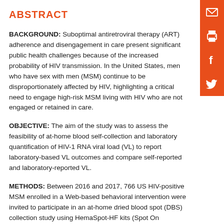ABSTRACT
BACKGROUND: Suboptimal antiretroviral therapy (ART) adherence and disengagement in care present significant public health challenges because of the increased probability of HIV transmission. In the United States, men who have sex with men (MSM) continue to be disproportionately affected by HIV, highlighting a critical need to engage high-risk MSM living with HIV who are not engaged or retained in care.
OBJECTIVE: The aim of the study was to assess the feasibility of at-home blood self-collection and laboratory quantification of HIV-1 RNA viral load (VL) to report laboratory-based VL outcomes and compare self-reported and laboratory-reported VL.
METHODS: Between 2016 and 2017, 766 US HIV-positive MSM enrolled in a Web-based behavioral intervention were invited to participate in an at-home dried blood spot (DBS) collection study using HemaSpot-HF kits (Spot On Sciences, Inc, Austin, TX) for laboratory-quantified VL.